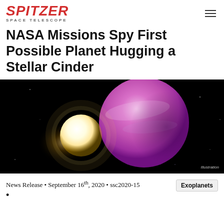Spitzer Space Telescope
NASA Missions Spy First Possible Planet Hugging a Stellar Cinder
[Figure (illustration): Space illustration showing a large pink/purple spherical planet next to a smaller bright white stellar remnant (white dwarf) against a black space background. Labeled 'Illustration' in lower right corner.]
News Release • September 16th, 2020 • ssc2020-15 •
Exoplanets